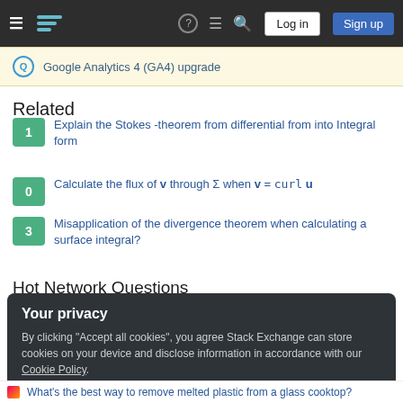Stack Exchange navigation bar with hamburger menu, logo, help, chat, search, Log in, Sign up
Google Analytics 4 (GA4) upgrade
Related
1 — Explain the Stokes -theorem from differential from into Integral form
0 — Calculate the flux of v through Σ when v = curl u
3 — Misapplication of the divergence theorem when calculating a surface integral?
Hot Network Questions
Your privacy
By clicking "Accept all cookies", you agree Stack Exchange can store cookies on your device and disclose information in accordance with our Cookie Policy.
What's the best way to remove melted plastic from a glass cooktop?